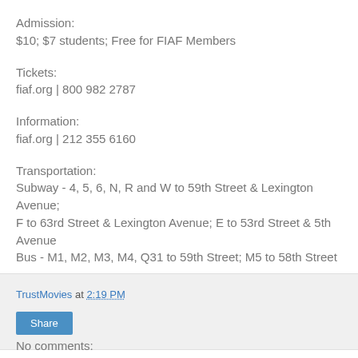Admission:
$10; $7 students; Free for FIAF Members
Tickets:
fiaf.org | 800 982 2787
Information:
fiaf.org | 212 355 6160
Transportation:
Subway - 4, 5, 6, N, R and W to 59th Street & Lexington Avenue;
F to 63rd Street & Lexington Avenue; E to 53rd Street & 5th Avenue
Bus - M1, M2, M3, M4, Q31 to 59th Street; M5 to 58th Street
TrustMovies at 2:19 PM
Share
No comments: